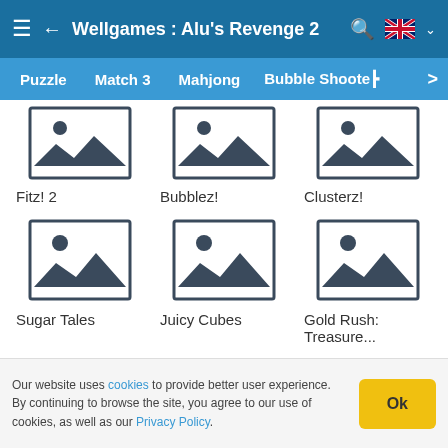Wellgames : Alu's Revenge 2
Puzzle | Match 3 | Mahjong | Bubble Shooter
[Figure (screenshot): Game thumbnail placeholder icon for Fitz! 2]
Fitz! 2
[Figure (screenshot): Game thumbnail placeholder icon for Bubblez!]
Bubblez!
[Figure (screenshot): Game thumbnail placeholder icon for Clusterz!]
Clusterz!
[Figure (screenshot): Game thumbnail placeholder icon for Sugar Tales]
Sugar Tales
[Figure (screenshot): Game thumbnail placeholder icon for Juicy Cubes]
Juicy Cubes
[Figure (screenshot): Game thumbnail placeholder icon for Gold Rush: Treasure...]
Gold Rush: Treasure...
Our website uses cookies to provide better user experience. By continuing to browse the site, you agree to our use of cookies, as well as our Privacy Policy.